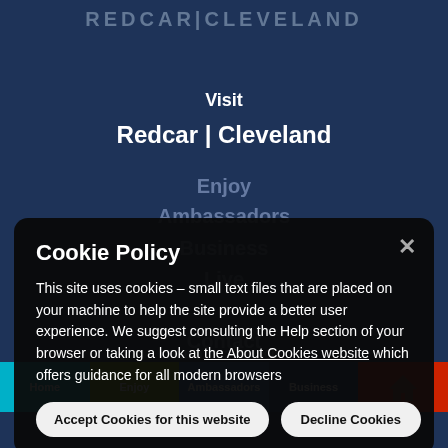REDCAR | CLEVELAND
Visit
Redcar | Cleveland
Enjoy
Ambassadors
Business
Live
Contact
Tel: 01642 444800
Cookie Policy
This site uses cookies – small text files that are placed on your machine to help the site provide a better user experience. We suggest consulting the Help section of your browser or taking a look at the About Cookies website which offers guidance for all modern browsers
Accept Cookies for this website
Decline Cookies
Home | Enjoy | Ambassadors | Business | Live